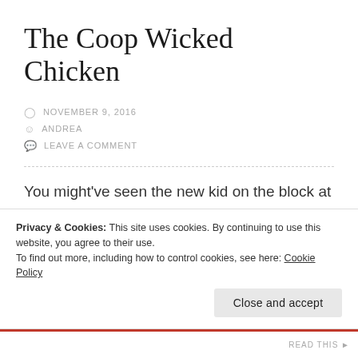The Coop Wicked Chicken
NOVEMBER 9, 2016
ANDREA
LEAVE A COMMENT
You might've seen the new kid on the block at the corner of King and Hess in Hamilton. Floor to ceiling windows, graffiti art along the side, and a pair of big red doors, yep, that's Coop Wicked Chicken. Maybe you've also seen their vulgar, yet hilarious social
Privacy & Cookies: This site uses cookies. By continuing to use this website, you agree to their use.
To find out more, including how to control cookies, see here: Cookie Policy
Close and accept